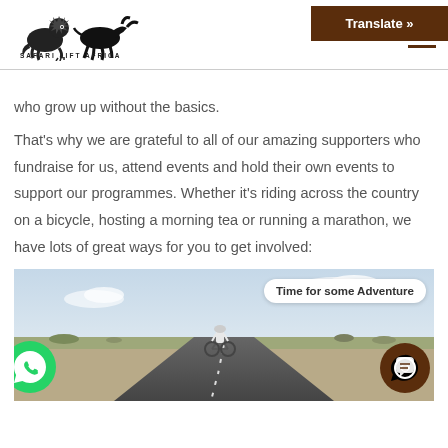[Figure (logo): Safari Lift Africa logo with lion and buffalo silhouettes]
Translate »
who grow up without the basics.
That's why we are grateful to all of our amazing supporters who fundraise for us, attend events and hold their own events to support our programmes. Whether it's riding across the country on a bicycle, hosting a morning tea or running a marathon, we have lots of great ways for you to get involved:
[Figure (photo): A cyclist riding a bicycle down a long straight road through an arid landscape. A speech bubble overlay reads 'Time for some Adventure'. WhatsApp icon at bottom left, chat icon at bottom right.]